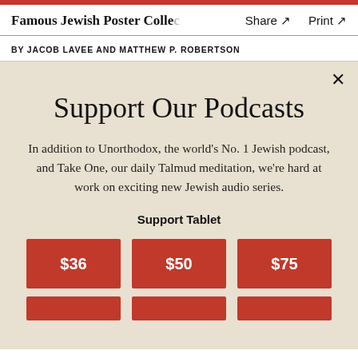Famous Jewish Poster Collec   Share ↗   Print ↗
BY JACOB LAVEE AND MATTHEW P. ROBERTSON
Support Our Podcasts
In addition to Unorthodox, the world's No. 1 Jewish podcast, and Take One, our daily Talmud meditation, we're hard at work on exciting new Jewish audio series.
Support Tablet
$36  $50  $75